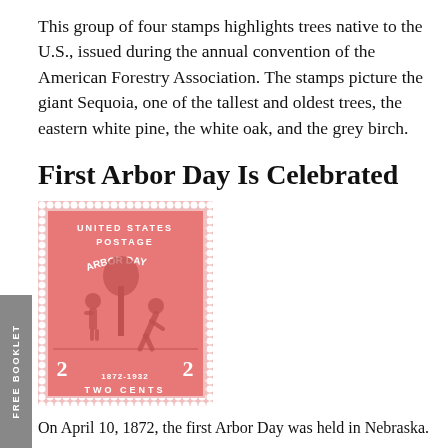This group of four stamps highlights trees native to the U.S., issued during the annual convention of the American Forestry Association. The stamps picture the giant Sequoia, one of the tallest and oldest trees, the eastern white pine, the white oak, and the grey birch.
First Arbor Day Is Celebrated
[Figure (illustration): A vintage U.S. postage stamp depicting Arbor Day 1872-1932, two cents, showing two figures planting a tree, red/pink color with perforated edges.]
On April 10, 1872, the first Arbor Day was held in Nebraska.
The man that founded Arbor Day, Julius Sterling Morton,